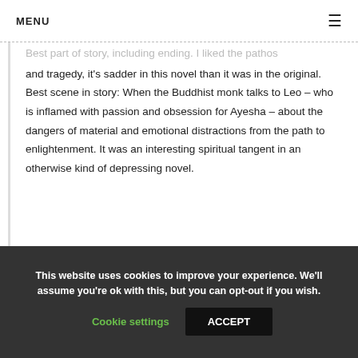MENU ≡
Best part of story, including ending. I liked the pathos and tragedy, it's sadder in this novel than it was in the original. Best scene in story: When the Buddhist monk talks to Leo – who is inflamed with passion and obsession for Ayesha – about the dangers of material and emotional distractions from the path to enlightenment. It was an interesting spiritual tangent in an otherwise kind of depressing novel.
This website uses cookies to improve your experience. We'll assume you're ok with this, but you can opt-out if you wish.
Cookie settings  ACCEPT